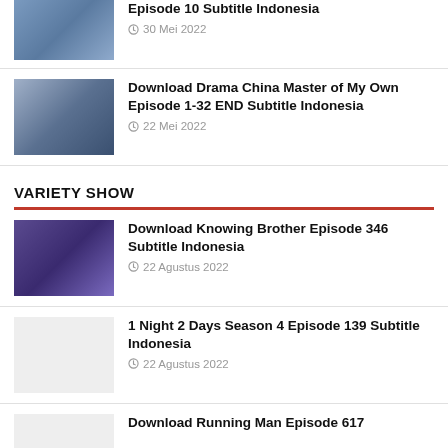[Figure (photo): Thumbnail image for drama episode]
Episode 10 Subtitle Indonesia
30 Mei 2022
[Figure (photo): Thumbnail image for Chinese drama Master of My Own]
Download Drama China Master of My Own Episode 1-32 END Subtitle Indonesia
22 Mei 2022
VARIETY SHOW
[Figure (photo): Thumbnail image for Knowing Brother Episode 346]
Download Knowing Brother Episode 346 Subtitle Indonesia
22 Agustus 2022
1 Night 2 Days Season 4 Episode 139 Subtitle Indonesia
22 Agustus 2022
Download Running Man Episode 617